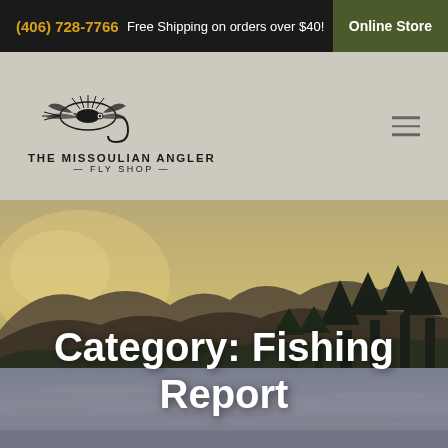(406) 728-7766 | Free Shipping on orders over $40! | Online Store
[Figure (logo): The Missoulian Angler Fly Shop logo with fly fishing lure illustration and text]
[Figure (photo): Scenic landscape photograph showing mountains, trees, and a river/lake in golden/warm tones]
Category: Fishing Report